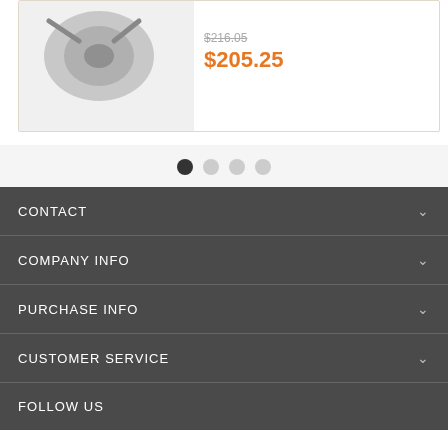[Figure (photo): Product image showing a mechanical part (partially visible at top)]
$216.05 (strikethrough) $205.25
[Figure (other): Carousel navigation dots: 4 dots, first one active (dark), rest inactive (light gray)]
CONTACT
COMPANY INFO
PURCHASE INFO
CUSTOMER SERVICE
FOLLOW US
By using this website you agree to accept our Privacy Policy and Terms & Conditions
Accept